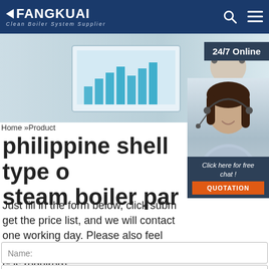FANGKUAI Clean Boiler System Supplier
[Figure (photo): Hero banner image showing a woman with headset at a computer with charts, and a 24/7 Online popup overlay]
[Figure (photo): Floating agent image of a smiling woman with headset, with chat popup: Click here for free chat! and QUOTATION button]
Home »Product
philippine shell type o steam boiler par
Just fill in the form below, click subm get the price list, and we will contact one working day. Please also feel free to contact us via email or phone. (* is required).
Name:
Email: